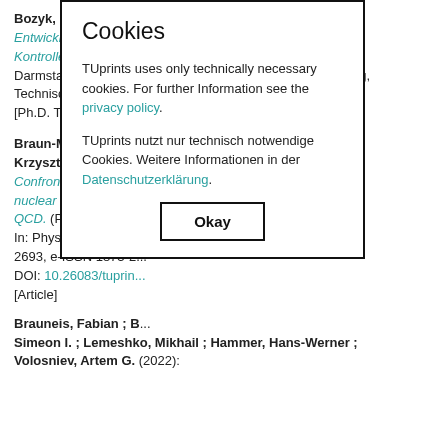Bozyk, Lars (2012): Entwicklung und Test eines Kryokollimator-Prototypen zur Kontrolle des dynamischen Vakuums im SIS100. Darmstadt, GSI Helmholtzzentrum für Schwerionenforschung, Technische Universität. [Ph.D. Thesis]
Braun-Munzinger, P... Krzysztof ; Stachel,... Confronting fluctuatio... nuclear collisions at... QCD. (Publisher's Ve... In: Physics Letters B... 2693, e-ISSN 1873-2... DOI: 10.26083/tuprin... [Article]
Brauneis, Fabian ; B... Simeon I. ; Lemeshko, Mikhail ; Hammer, Hans-Werner ; Volosniev, Artem G. (2022):
Cookies
TUprints uses only technically necessary cookies. For further Information see the privacy policy.
TUprints nutzt nur technisch notwendige Cookies. Weitere Informationen in der Datenschutzerklärung.
Okay